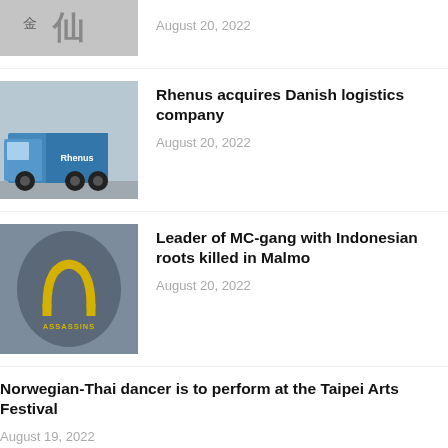[Figure (photo): Partial thumbnail of a sign with Chinese characters, top of page]
August 20, 2022
[Figure (photo): Truck with blue trailer driving on a road]
Rhenus acquires Danish logistics company
August 20, 2022
[Figure (photo): Person wearing a jacket with 'Assassin' text and a horseshoe logo]
Leader of MC-gang with Indonesian roots killed in Malmo
August 20, 2022
Norwegian-Thai dancer is to perform at the Taipei Arts Festival
August 19, 2022
Denmark-Vietnam partnership